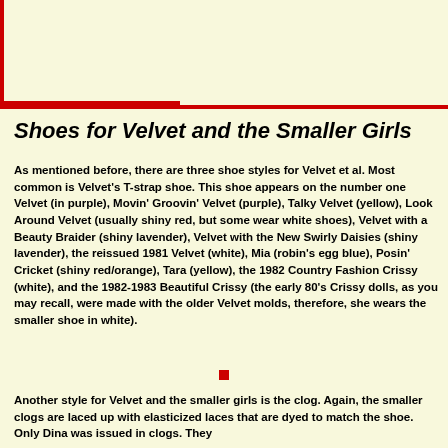Shoes for Velvet and the Smaller Girls
As mentioned before, there are three shoe styles for Velvet et al. Most common is Velvet's T-strap shoe. This shoe appears on the number one Velvet (in purple), Movin' Groovin' Velvet (purple), Talky Velvet (yellow), Look Around Velvet (usually shiny red, but some wear white shoes), Velvet with a Beauty Braider (shiny lavender), Velvet with the New Swirly Daisies (shiny lavender), the reissued 1981 Velvet (white), Mia (robin's egg blue), Posin' Cricket (shiny red/orange), Tara (yellow), the 1982 Country Fashion Crissy (white), and the 1982-1983 Beautiful Crissy (the early 80's Crissy dolls, as you may recall, were made with the older Velvet molds, therefore, she wears the smaller shoe in white).
Another style for Velvet and the smaller girls is the clog. Again, the smaller clogs are laced up with elasticized laces that are dyed to match the shoe. Only Dina was issued in clogs. They